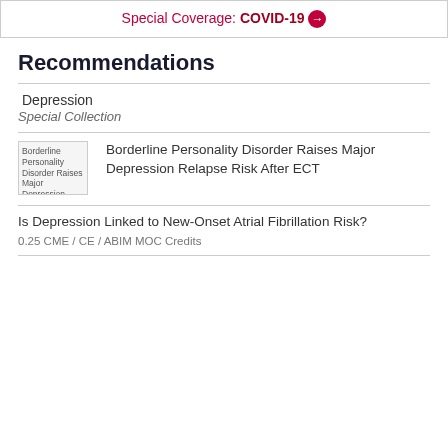Special Coverage: COVID-19 →
Recommendations
Depression
Special Collection
[Figure (photo): Thumbnail image for article about Borderline Personality Disorder and ECT. Image failed to load (broken image icon shown).]
Borderline Personality Disorder Raises Major Depression Relapse Risk After ECT
Is Depression Linked to New-Onset Atrial Fibrillation Risk?
0.25 CME / CE / ABIM MOC Credits